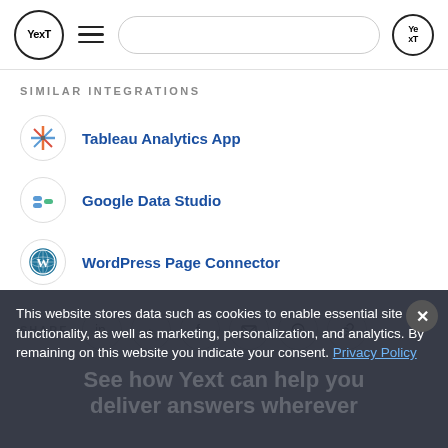[Figure (logo): Yext logo in circle, hamburger menu, search bar, Yext avatar icon in header]
SIMILAR INTEGRATIONS
Tableau Analytics App
Google Data Studio
WordPress Page Connector
SHARE
This website stores data such as cookies to enable essential site functionality, as well as marketing, personalization, and analytics. By remaining on this website you indicate your consent. Privacy Policy
See how Yext can help you deliver answers wherever